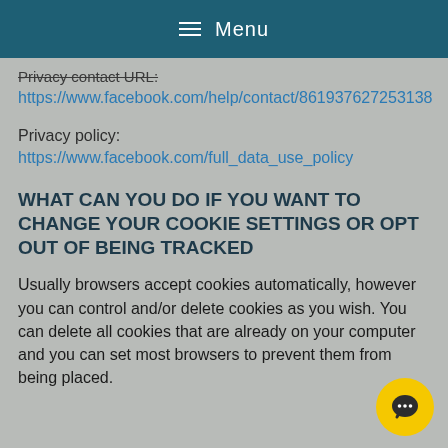≡ Menu
Privacy contact URL:
https://www.facebook.com/help/contact/861937627253138
Privacy policy:
https://www.facebook.com/full_data_use_policy
WHAT CAN YOU DO IF YOU WANT TO CHANGE YOUR COOKIE SETTINGS OR OPT OUT OF BEING TRACKED
Usually browsers accept cookies automatically, however you can control and/or delete cookies as you wish. You can delete all cookies that are already on your computer and you can set most browsers to prevent them from being placed.